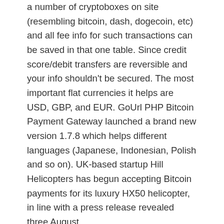a number of cryptoboxes on site (resembling bitcoin, dash, dogecoin, etc) and all fee info for such transactions can be saved in that one table. Since credit score/debit transfers are reversible and your info shouldn't be secured. The most important flat currencies it helps are USD, GBP, and EUR. GoUrl PHP Bitcoin Payment Gateway launched a brand new version 1.7.8 which helps different languages (Japanese, Indonesian, Polish and so on). UK-based startup Hill Helicopters has begun accepting Bitcoin payments for its luxury HX50 helicopter, in line with a press release revealed three August.
The pilot starts this August and will see Quiznos